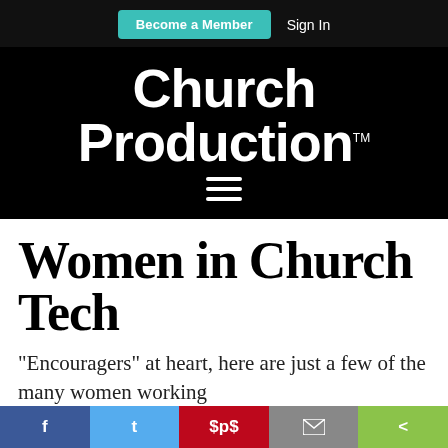Become a Member   Sign In
Church Production™
[Figure (other): Hamburger menu icon (three horizontal white lines on black background)]
Women in Church Tech
"Encouragers" at heart, here are just a few of the many women working
f  t  ®  ✉  <